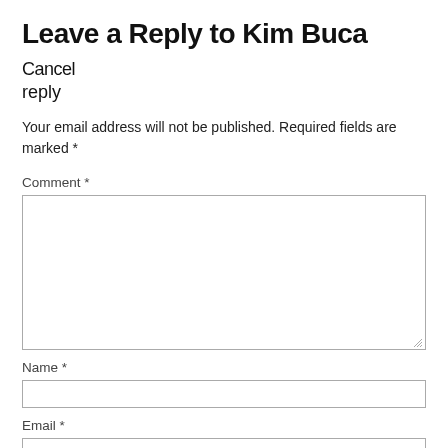Leave a Reply to Kim Buca Cancel reply
Your email address will not be published. Required fields are marked *
Comment *
Name *
Email *